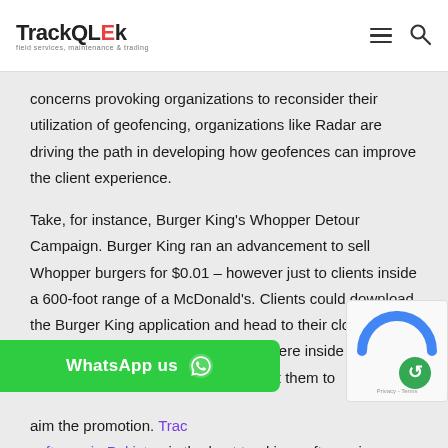TrackQLEk — field services, maintenance & trading
concerns provoking organizations to reconsider their utilization of geofencing, organizations like Radar are driving the path in developing how geofences can improve the client experience.
Take, for instance, Burger King's Whopper Detour Campaign. Burger King ran an advancement to sell Whopper burgers for $0.01 – however just to clients inside a 600-foot range of a McDonald's. Clients could download the Burger King application and head to their closest McDonald's. At the point when they were inside the geofence, the application would divert them to aim the promotion. Trac software in Pakistan is the best tracking software in
[Figure (other): WhatsApp us button with WhatsApp icon in green]
[Figure (other): reCAPTCHA privacy badge with blue and green logo]